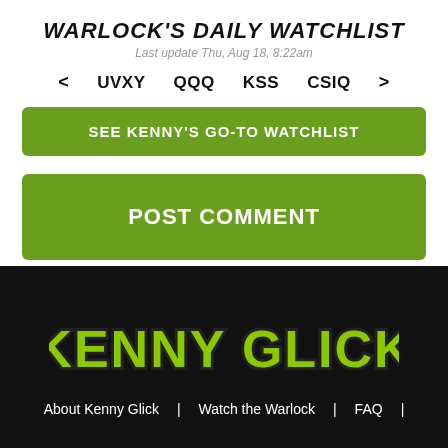WARLOCK'S DAILY WATCHLIST
Last update Thu, Aug 18, 8:22am
< UVXY QQQ KSS CSIQ >
SEE KENNY'S GO-TO WATCHLIST
POST COMMENT
[Figure (logo): Kenny Glick logo in bold green text with dark stroke on black background]
About Kenny Glick  Watch the Warlock  FAQ